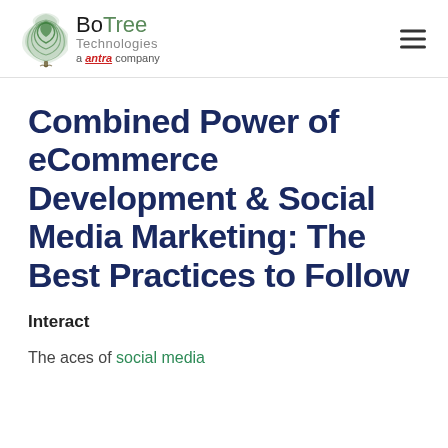BoTree Technologies a antra company
Combined Power of eCommerce Development & Social Media Marketing: The Best Practices to Follow
Interact
The aces of social media